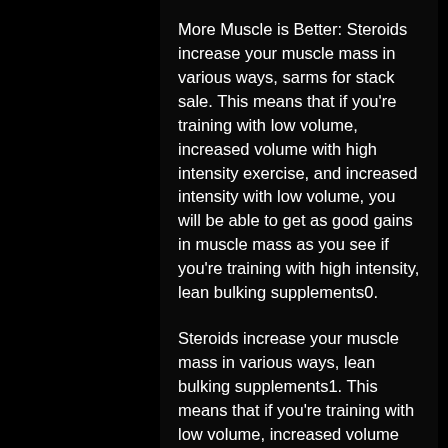More Muscle is Better: Steroids increase your muscle mass in various ways, sarms for stack sale. This means that if you're training with low volume, increased volume with high intensity exercise, and increased intensity with low volume, you will be able to get as good gains in muscle mass as you see if you're training with high intensity, lean bulking supplements0.
Steroids increase your muscle mass in various ways, lean bulking supplements1. This means that if you're training with low volume, increased volume with high intensity exercise, and increased intensity with low volume, you will be able to get as good gains in muscle mass as you see if you're training with high intensity. Faster Growth: For best results when working with low-volume training, we recommend the use of anabolic steroids, tighten the use on your volume in